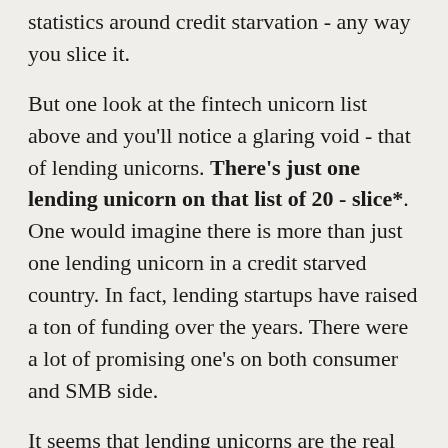statistics around credit starvation - any way you slice it.
But one look at the fintech unicorn list above and you'll notice a glaring void - that of lending unicorns. There's just one lending unicorn on that list of 20 - slice*. One would imagine there is more than just one lending unicorn in a credit starved country. In fact, lending startups have raised a ton of funding over the years. There were a lot of promising one's on both consumer and SMB side.
It seems that lending unicorns are the real unicorns because of the "statistical rarity" of achieving that billion dollar valuation.
Where are these lending unicorns? The answer to this question is not so straight forward. There are several reasons why that didn't happen, IMO, including